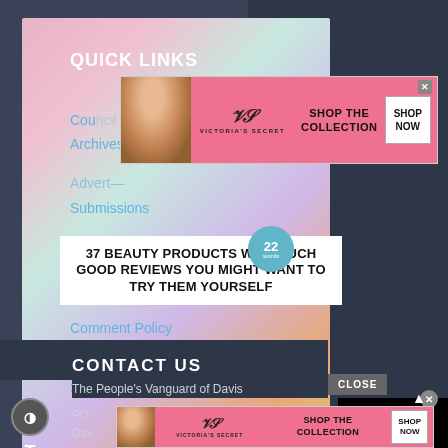[Figure (screenshot): Website screenshot showing overlapping advertisements and navigation. Top area shows a dark website sidebar with QUICK LINKS navigation, overlaid by a Victoria's Secret banner ad (pink background, model, VS logo, SHOP THE COLLECTION text, SHOP NOW button). Below that is a '37 BEAUTY PRODUCTS WITH SUCH GOOD REVIEWS YOU MIGHT WANT TO TRY THEM YOURSELF' article thumbnail with a circular '22 Words' badge. Background shows colorful beauty product bottles. A black video player area appears on the right. Bottom section shows a dark CONTACT US area with 'The People's Vanguard of Davis' text, a CLOSE button, and a second Victoria's Secret banner at the bottom.]
QUICK LINKS
Cou[ncil]
Archives
Submissions
Donate
Editorial Board
Comment Policy
Contact Us
Sitemap
CONTACT US
The People's Vanguard of Davis
PO
Dav